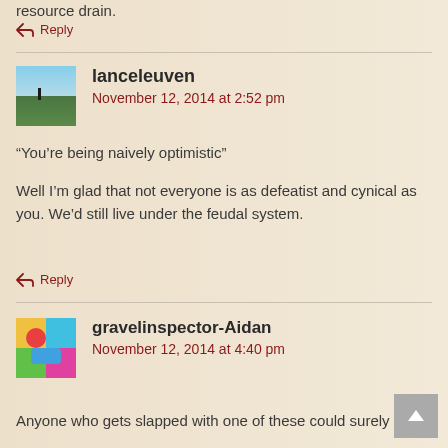resource drain.
↵ Reply
lanceleuven
November 12, 2014 at 2:52 pm
“You’re being naively optimistic”
Well I’m glad that not everyone is as defeatist and cynical as you. We’d still live under the feudal system.
↵ Reply
gravelinspector-Aidan
November 12, 2014 at 4:40 pm
Anyone who gets slapped with one of these could surely